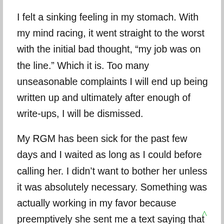I felt a sinking feeling in my stomach. With my mind racing, it went straight to the worst with the initial bad thought, “my job was on the line.” Which it is. Too many unseasonable complaints I will end up being written up and ultimately after enough of write-ups, I will be dismissed.
My RGM has been sick for the past few days and I waited as long as I could before calling her. I didn’t want to bother her unless it was absolutely necessary. Something was actually working in my favor because preemptively she sent me a text saying that she was the way. A few moments later, Ms. Z returned even though